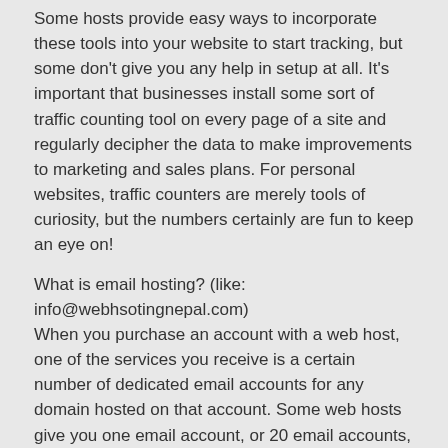Some hosts provide easy ways to incorporate these tools into your website to start tracking, but some don't give you any help in setup at all. It's important that businesses install some sort of traffic counting tool on every page of a site and regularly decipher the data to make improvements to marketing and sales plans. For personal websites, traffic counters are merely tools of curiosity, but the numbers certainly are fun to keep an eye on!
What is email hosting? (like: info@webhsotingnepal.com)
When you purchase an account with a web host, one of the services you receive is a certain number of dedicated email accounts for any domain hosted on that account. Some web hosts give you one email account, or 20 email accounts, or unlimited email accounts. Those email accounts are managed from the control panel of the web host and you can set up email accounts, change their passwords, and set up email forwarders, all from that control panel.
What is SSL security?
This is an abbreviation for Secure Sockets Layer. This is a common protocol used to communicate information securely online. This protocol provides a safe path that runs between two Internet-connected machines or two machines on the same internal network. It is an extremely handy tool used by web browsers who need to connect